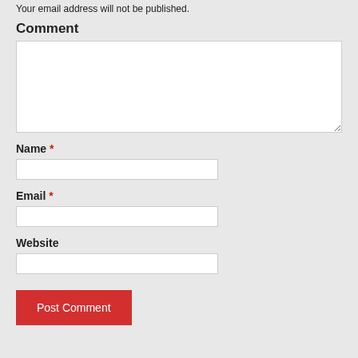Your email address will not be published.
Comment
Name *
Email *
Website
Post Comment